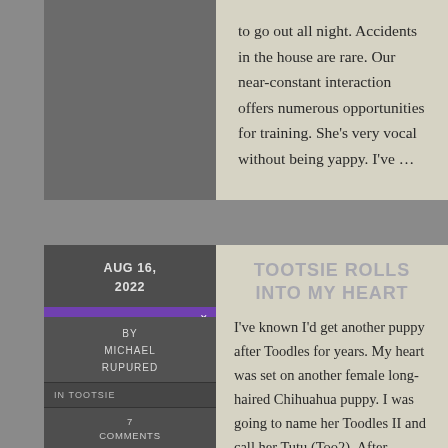to go out all night. Accidents in the house are rare. Our near-constant interaction offers numerous opportunities for training. She's very vocal without being yappy. I've …
[Figure (photo): Dark gray rectangle representing a dog photo thumbnail on the left sidebar of a blog post card]
AUG 16, 2022
[Figure (photo): Screenshot of a phone app showing a small tan/golden Chihuahua puppy on a dark background with a purple app bar]
BY MICHAEL RUPURED
IN TOOTSIE
7 COMMENTS
TOOTSIE ROLLS INTO MY HEART
I've known I'd get another puppy after Toodles for years. My heart was set on another female long-haired Chihuahua puppy. I was going to name her Toodles II and call her Tutu (Too2). After looking online for a few days, I revised my criteria. Maybe I didn't have to have a Chihuahua. After all, purebreds are notorious for health issues. I wanted a healthy female puppy (8 weeks to 6 months) small enough to use the existing dog door. Avoiding puppy mills was a priority. I dropped by area